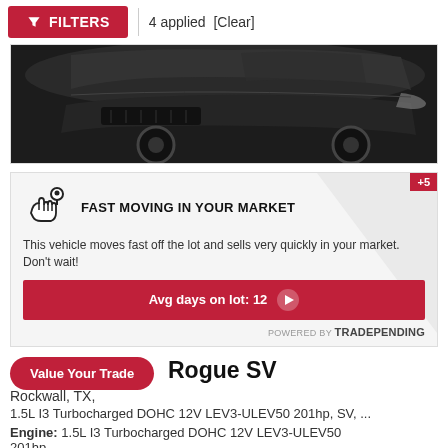FILTERS | 4 applied [Clear]
[Figure (photo): Front/side view of a dark-colored SUV (Nissan Rogue) partially cropped at top of listing card]
FAST MOVING IN YOUR MARKET
This vehicle moves fast off the lot and sells very quickly in your market. Don't wait!
Avg days on lot: 12
POWERED BY TRADEPENDING
+5
Value Your Trade
Rogue SV
Rockwall, TX,
1.5L I3 Turbocharged DOHC 12V LEV3-ULEV50 201hp, SV, ...
Engine: 1.5L I3 Turbocharged DOHC 12V LEV3-ULEV50 201hp